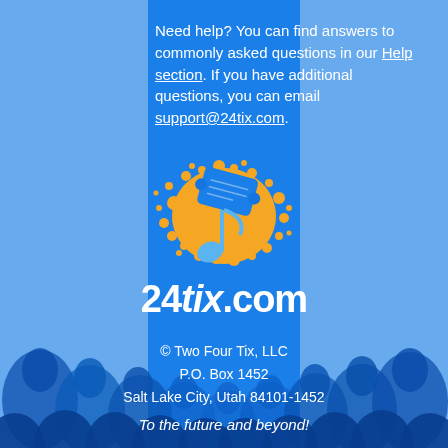Need help? You can find answers to commonly asked questions in our Help section. If you have additional questions, you can email support@24tix.com.
[Figure (logo): 24tix.com logo featuring an orange ticket with a blue musical note, surrounded by orange paint splatter dots]
24tix.com
© Two Four Tix, LLC
P.O. Box 1452
Salt Lake City, Utah 84101-1452
To the future and beyond!